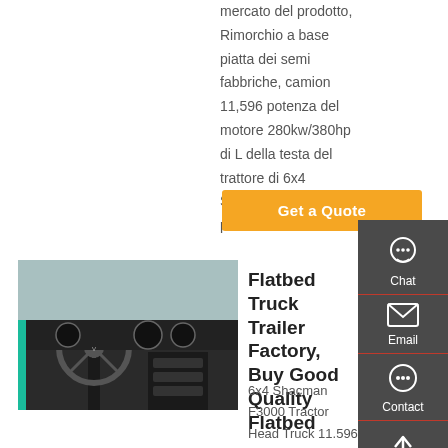mercato del prodotto, Rimorchio a base piatta dei semi fabbriche, camion 11,596 potenza del motore 280kw/380hp di L della testa del trattore di 6x4 Shacman F3000 prodotti.
Get a Quote
[Figure (photo): Interior photo of a truck cab showing steering wheel, dashboard with gauges, and center console]
Flatbed Truck Trailer Factory, Buy Good Quality Flatbed
6x4 Shacman F3000 Tractor Head Truck 11.596 L 280kw / 380hp Engine PowerContact